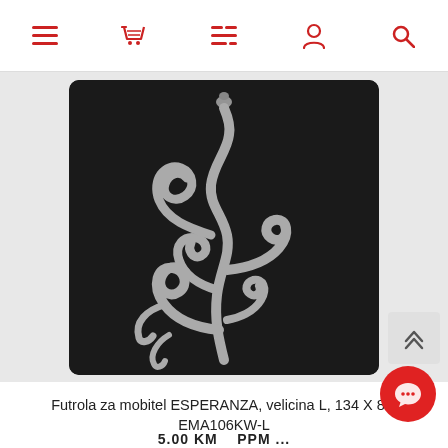Navigation bar with menu, cart, list, user, and search icons
[Figure (photo): Black phone case/pouch (Futrola) with decorative silver floral swirl pattern on front, rounded bottom edges, vertical rectangular shape]
Futrola za mobitel ESPERANZA, velicina L, 134 X 8... EMA106KW-L
5.00 KM ... PPM ...